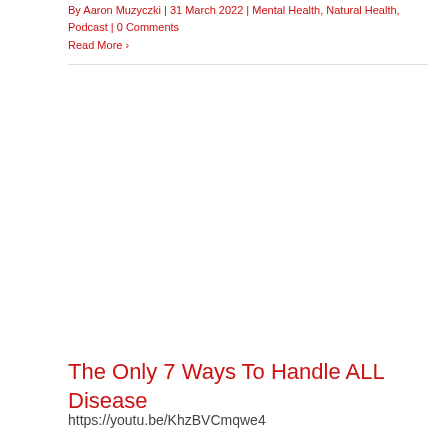By Aaron Muzyczki | 31 March 2022 | Mental Health, Natural Health, Podcast | 0 Comments
Read More >
The Only 7 Ways To Handle ALL Disease
https://youtu.be/KhzBVCmqwe4